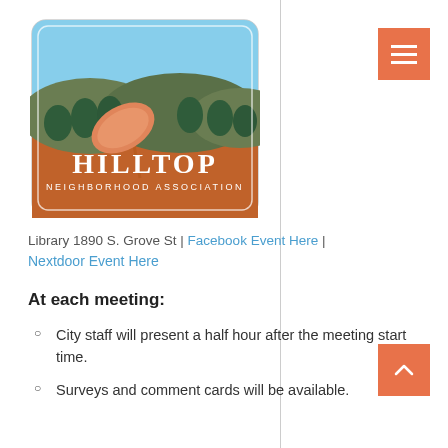[Figure (logo): Hilltop Neighborhood Association logo — illustration with satellite dish, trees, hills, and orange terrain, text reads HILLTOP NEIGHBORHOOD ASSOCIATION]
Library 1890 S. Grove St | Facebook Event Here | Nextdoor Event Here
At each meeting:
City staff will present a half hour after the meeting start time.
Surveys and comment cards will be available.